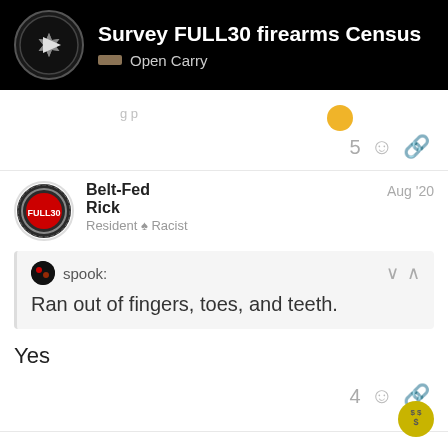Survey FULL30 firearms Census — Open Carry
5
Belt-Fed Rick
Resident ♠ Racist
Aug '20
spook:
Ran out of fingers, toes, and teeth.
Yes
4
BrianK FULL30
Aug '20
Keep your powder dry my friends